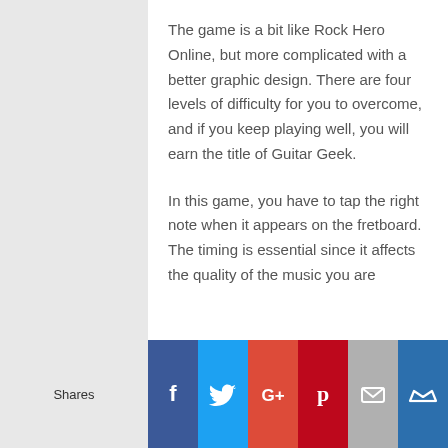The game is a bit like Rock Hero Online, but more complicated with a better graphic design. There are four levels of difficulty for you to overcome, and if you keep playing well, you will earn the title of Guitar Geek.
In this game, you have to tap the right note when it appears on the fretboard. The timing is essential since it affects the quality of the music you are
Shares [Facebook] [Twitter] [Google+] [Pinterest] [Email] [Crown]